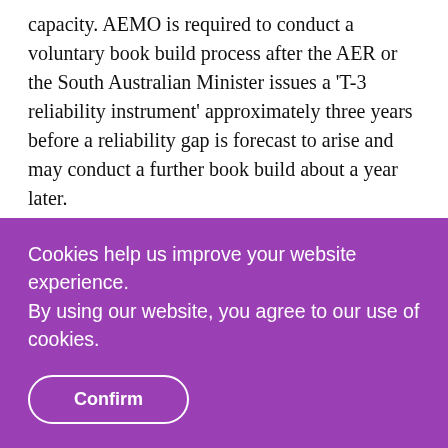capacity. AEMO is required to conduct a voluntary book build process after the AER or the South Australian Minister issues a 'T-3 reliability instrument' approximately three years before a reliability gap is forecast to arise and may conduct a further book build about a year later.
Fees
Cookies help us improve your website experience.
By using our website, you agree to our use of cookies.
Confirm